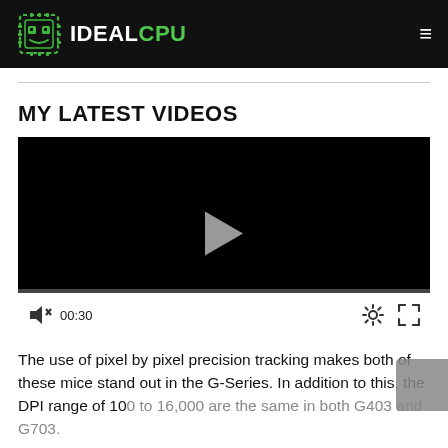IDEALCPU
MY LATEST VIDEOS
[Figure (screenshot): Embedded video player with black background, play button, progress bar, time display 00:30, settings and fullscreen icons]
The use of pixel by pixel precision tracking makes both of these mice stand out in the G-Series. In addition to this, the DPI range of 100 to 16,000 are the same in both G403 and G703.